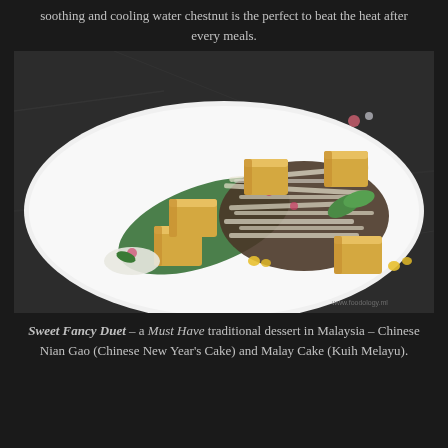soothing and cooling water chestnut is the perfect to beat the heat after every meals.
[Figure (photo): A plated dessert on a white rectangular plate showing golden cube-shaped cakes (likely Nian Gao) and a dark coconut-coated cake (Kuih Melayu), garnished with mint leaves, edible flowers, and corn kernels, placed against a dark marble background.]
Sweet Fancy Duet – a Must Have traditional dessert in Malaysia – Chinese Nian Gao (Chinese New Year's Cake) and Malay Cake (Kuih Melayu).